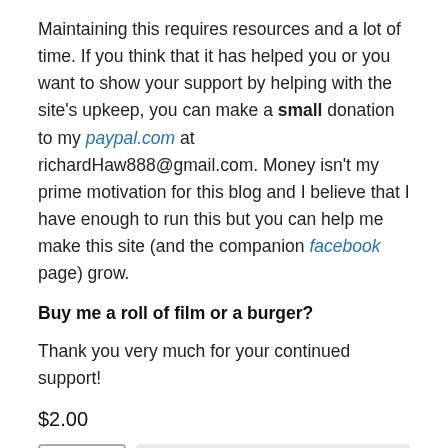Maintaining this requires resources and a lot of time. If you think that it has helped you or you want to show your support by helping with the site's upkeep, you can make a small donation to my paypal.com at richardHaw888@gmail.com. Money isn't my prime motivation for this blog and I believe that I have enough to run this but you can help me make this site (and the companion facebook page) grow.
Buy me a roll of film or a burger?
Thank you very much for your continued support!
$2.00
[Figure (screenshot): Quantity selector showing '1' with up/down arrows, and a PayPal button in a light gray rounded box, with partial view of payment card options below.]